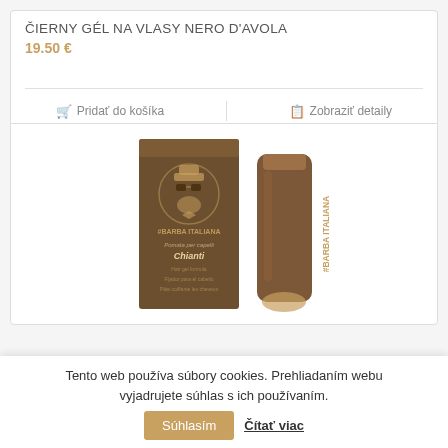ČIERNY GÉL NA VLASY NERO D'AVOLA
19.50 €
🛒 Pridať do košíka   📋 Zobraziť detaily
[Figure (photo): Product photo of #BARBA ITALIANA Chianti hair gel - showing a dark brown box and a brown tube with gold text]
Tento web používa súbory cookies. Prehliadaním webu vyjadrujete súhlas s ich používaním.
Súhlasím  Čítať viac